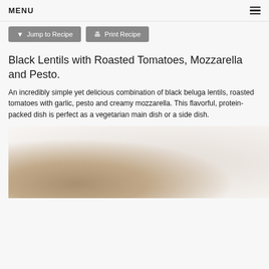MENU
Jump to Recipe   Print Recipe
Black Lentils with Roasted Tomatoes, Mozzarella and Pesto.
An incredibly simple yet delicious combination of black beluga lentils, roasted tomatoes with garlic, pesto and creamy mozzarella. This flavorful, protein-packed dish is perfect as a vegetarian main dish or a side dish.
[Figure (photo): Partial photo of a bowl with black lentils dish, showing a white ceramic bowl bottom-left with dark lentil mixture, on a light background.]